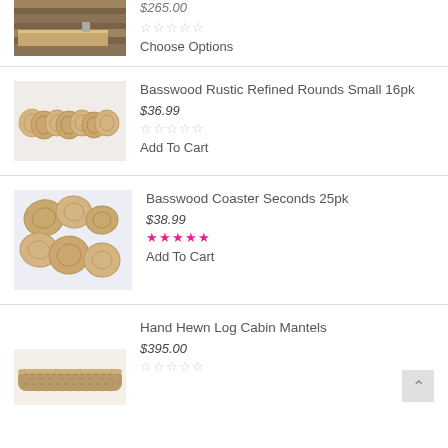[Figure (photo): Product image of a wooden mantel/shelf on a wood plank background, partially cropped at top]
$265.00
☆☆☆☆☆ (unrated)
Choose Options
[Figure (photo): Product image of Basswood Rustic Refined Rounds Small 16pk - multiple wood slice circles arranged in a row]
Basswood Rustic Refined Rounds Small 16pk
$36.99
☆☆☆☆☆ (unrated)
Add To Cart
[Figure (photo): Product image of Basswood Coaster Seconds 25pk - multiple irregular wood slices/coasters in a scattered arrangement]
Basswood Coaster Seconds 25pk
$38.99
★★★★★ (5 stars filled, pink)
Add To Cart
[Figure (photo): Product image of Hand Hewn Log Cabin Mantels - a rustic hewn log piece, partially visible]
Hand Hewn Log Cabin Mantels
$395.00
☆☆☆☆☆ (unrated)